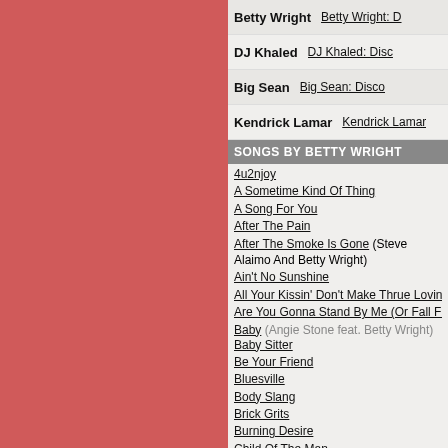Betty Wright | Betty Wright: D...
DJ Khaled | DJ Khaled: Disc...
Big Sean | Big Sean: Disco...
Kendrick Lamar | Kendrick Lamar...
SONGS BY BETTY WRIGHT
4u2njoy
A Sometime Kind Of Thing
A Song For You
After The Pain
After The Smoke Is Gone (Steve Alaimo And Betty Wright)
Ain't No Sunshine
All Your Kissin' Don't Make Thrue Lovin'
Are You Gonna Stand By Me (Or Fall For Her)
Baby (Angie Stone feat. Betty Wright)
Baby Sitter
Be Your Friend
Bluesville
Body Slang
Brick Grits
Burning Desire
Child Of The Man
Circle Of Heart Breaks
Clean Up Woman
Come On Up
Come To You
Cry Like A Baby
Cryin' In My Sleep
Dancin' On The One
Deep Water
Distant Lover
Do Right Girl
Don't Forget To Say I Love You Today
Don't Hurt Me